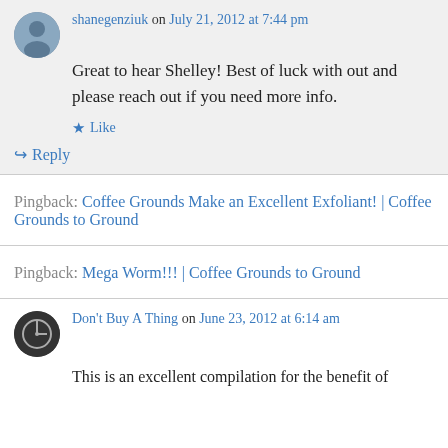shanegenziuk on July 21, 2012 at 7:44 pm
Great to hear Shelley! Best of luck with out and please reach out if you need more info.
Like
↳ Reply
Pingback: Coffee Grounds Make an Excellent Exfoliant! | Coffee Grounds to Ground
Pingback: Mega Worm!!! | Coffee Grounds to Ground
Don't Buy A Thing on June 23, 2012 at 6:14 am
This is an excellent compilation for the benefit of